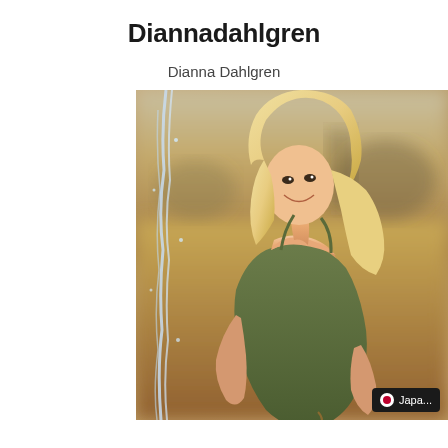Diannadahlgren
Dianna Dahlgren
[Figure (photo): Photo of Dianna Dahlgren, a blonde woman in a green swimsuit, smiling, outdoors with a blurred warm background and water splash on left side]
Japa...